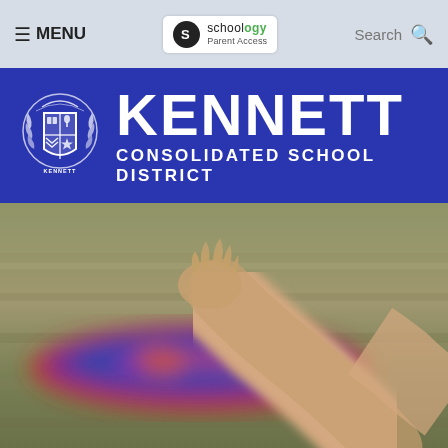☰ MENU   Schoology Parent Access   Search
[Figure (logo): Kennett Consolidated School District logo — white crest/shield emblem on blue background with bold white text KENNETT and CONSOLIDATED SCHOOL DISTRICT]
[Figure (photo): Close-up photo of a child's hand raised, with a blurred colorful mat/rug in the background — classroom setting]